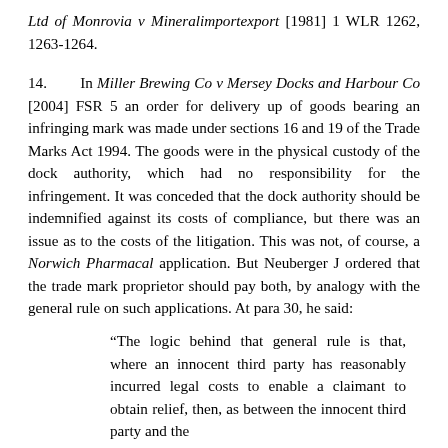Ltd of Monrovia v Mineralimportexport [1981] 1 WLR 1262, 1263-1264.
14. In Miller Brewing Co v Mersey Docks and Harbour Co [2004] FSR 5 an order for delivery up of goods bearing an infringing mark was made under sections 16 and 19 of the Trade Marks Act 1994. The goods were in the physical custody of the dock authority, which had no responsibility for the infringement. It was conceded that the dock authority should be indemnified against its costs of compliance, but there was an issue as to the costs of the litigation. This was not, of course, a Norwich Pharmacal application. But Neuberger J ordered that the trade mark proprietor should pay both, by analogy with the general rule on such applications. At para 30, he said:
“The logic behind that general rule is that, where an innocent third party has reasonably incurred legal costs to enable a claimant to obtain relief, then, as between the innocent third party and the